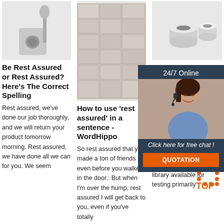[Figure (photo): Concrete toilet brush holder and brush on white background]
[Figure (photo): Stack of grey concrete/aerated blocks]
[Figure (photo): White cylindrical pipe fittings on white background]
Be Rest Assured or Rest Assured? Here's The Correct Spelling
How to use 'rest assured' in a sentence - WordHippo
REST Assured CRUD Framework API Testing. DZone
Rest assured, we've done our job thoroughly, and we will return your product tomorrow morning. Rest assured, we have done all we can for you. We seem
So rest assured that you made a ton of friends even before you walked in the door.: But when I'm over the hump, rest assured I will get back to you, even if you've totally
2021-5- 10u200 Assure Library - API Testing. REST Assured is an open-source (free) Java library available for testing primarily
[Figure (infographic): 24/7 Online chat overlay with customer service agent photo, 'Click here for free chat!' text and QUOTATION button]